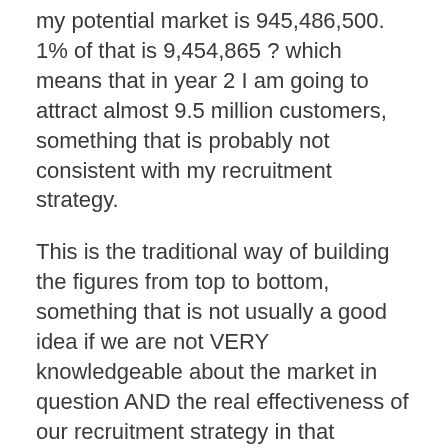my potential market is 945,486,500. 1% of that is 9,454,865 ? which means that in year 2 I am going to attract almost 9.5 million customers, something that is probably not consistent with my recruitment strategy.
This is the traditional way of building the figures from top to bottom, something that is not usually a good idea if we are not VERY knowledgeable about the market in question AND the real effectiveness of our recruitment strategy in that market.
It is much better than the SOM is built from the bottom up, that is: I will capture it with telemarketing agents. I have 5 people, who will make an average of 100 calls a day ? that is to